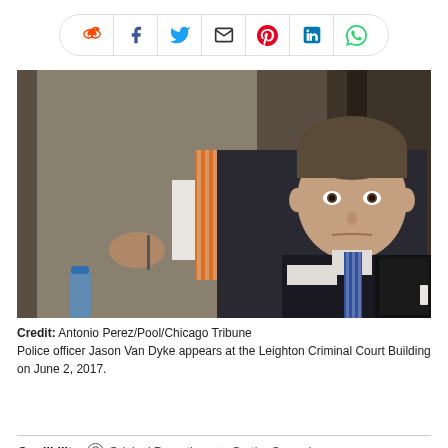[Figure (other): Social media share bar with icons: Reddit, Facebook, Twitter, Email, Pinterest, LinkedIn, WhatsApp]
[Figure (photo): Police officer Jason Van Dyke seated at a table in a courtroom, wearing a dark suit and blue striped tie. Another man in a gray suit with an orange striped tie stands beside him holding glasses and a pen. A water bottle is visible at lower left.]
Credit: Antonio Perez/Pool/Chicago Tribune
Police officer Jason Van Dyke appears at the Leighton Criminal Court Building on June 2, 2017.
Credibility: ⊙ Original Reporting  ✿ On the Ground